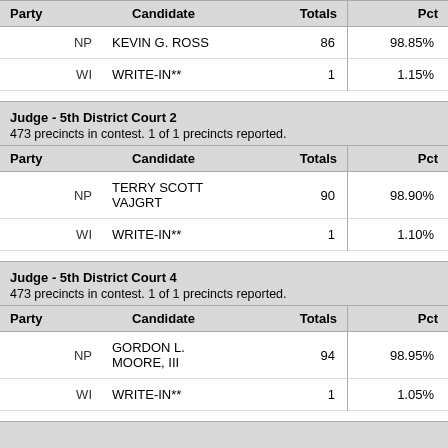| Party | Candidate | Totals | Pct |
| --- | --- | --- | --- |
| NP | KEVIN G. ROSS | 86 | 98.85% |
| WI | WRITE-IN** | 1 | 1.15% |
Judge - 5th District Court 2
473 precincts in contest. 1 of 1 precincts reported.
| Party | Candidate | Totals | Pct |
| --- | --- | --- | --- |
| NP | TERRY SCOTT VAJGRT | 90 | 98.90% |
| WI | WRITE-IN** | 1 | 1.10% |
Judge - 5th District Court 4
473 precincts in contest. 1 of 1 precincts reported.
| Party | Candidate | Totals | Pct |
| --- | --- | --- | --- |
| NP | GORDON L. MOORE, III | 94 | 98.95% |
| WI | WRITE-IN** | 1 | 1.05% |